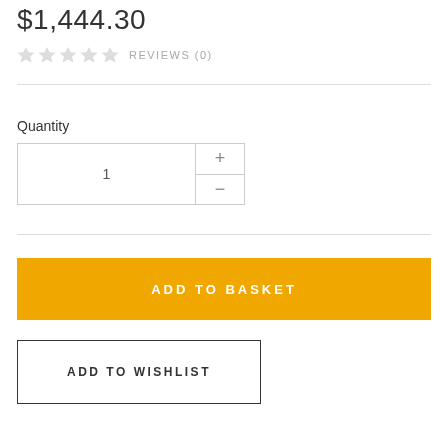$1,444.30
REVIEWS (0)
Quantity
1
ADD TO BASKET
ADD TO WISHLIST